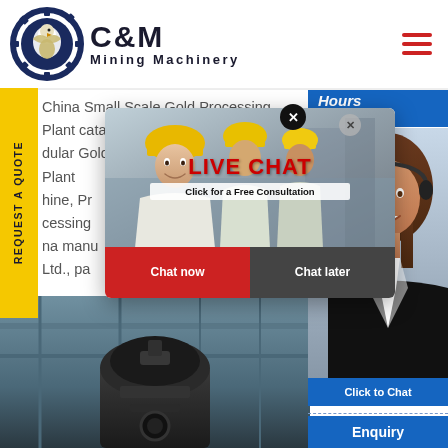[Figure (logo): C&M Mining Machinery logo with eagle-gear emblem, dark navy and black text]
China Small Scale Gold Processing Plant catalog of Modular Gold Engineering Construction CIL Plant Machine, Processing, China manufacturers Ltd., pa...
[Figure (photo): Live chat popup overlay with workers in yellow hard hats, LIVE CHAT text, Click for a Free Consultation, Chat now and Chat later buttons]
[Figure (photo): Mining machinery equipment photo at bottom left]
[Figure (photo): Customer service agent with headset on right side with Click to Chat button and Enquiry label]